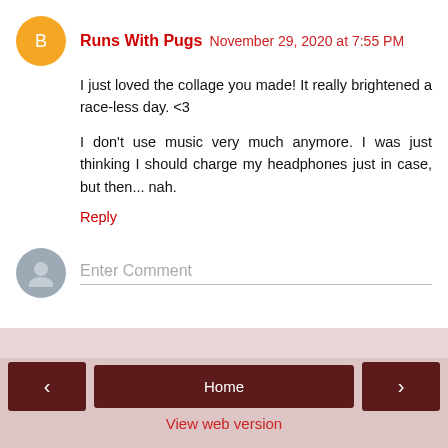Runs With Pugs  November 29, 2020 at 7:55 PM
I just loved the collage you made! It really brightened a race-less day. <3
I don't use music very much anymore. I was just thinking I should charge my headphones just in case, but then... nah.
Reply
Enter Comment
Home
View web version
About Me
Kim at Running on the Fly